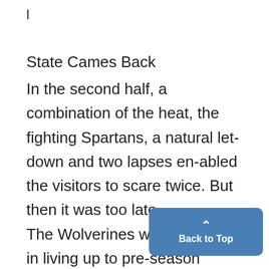l
State Cames Back
In the second half, a combination of the heat, the fighting Spartans, a natural let-down and two lapses enabled the visitors to scare twice. But then it was too late. The Wolverines wasted little time in living up to pre-season expectations.. Eight minutes after State had kicked off, Michigan had its first score.
Les Bruckner kicked off to Tom
[Figure (other): Back to Top button overlay in blue rounded rectangle with upward chevron and text 'Back to Top']